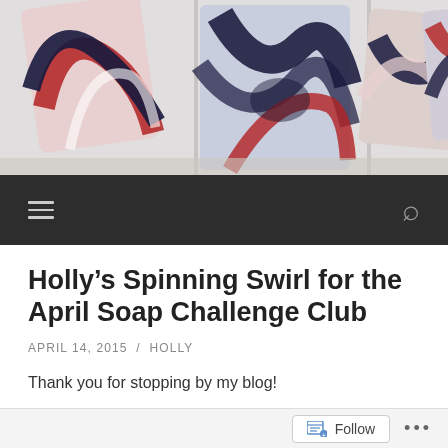[Figure (photo): Banner photo showing multiple handmade soap bars with swirled red, white, and navy blue patterns arranged on a light surface]
[Figure (screenshot): Dark navigation bar with hamburger menu icon on the left and search (magnifying glass) icon on the right]
Holly’s Spinning Swirl for the April Soap Challenge Club
APRIL 14, 2015  /  HOLLY
Thank you for stopping by my blog!
[Figure (photo): Partially visible photo showing a light gray wooden surface or background]
Follow  ...